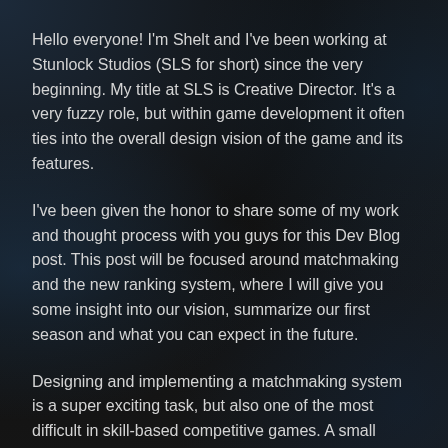Hello everyone! I'm Shelt and I've been working at Stunlock Studios (SLS for short) since the very beginning. My title at SLS is Creative Director. It's a very fuzzy role, but within game development it often ties into the overall design vision of the game and its features.
I've been given the honor to share some of my work and thought process with you guys for this Dev Blog post. This post will be focused around matchmaking and the new ranking system, where I will give you some insight into our vision, summarize our first season and what you can expect in the future.
Designing and implementing a matchmaking system is a super exciting task, but also one of the most difficult in skill-based competitive games. A small difference in skill can make a huge impact on the match balance. Also having to take estimated skill, visual placement, server regions, champions, archetypes, game type,